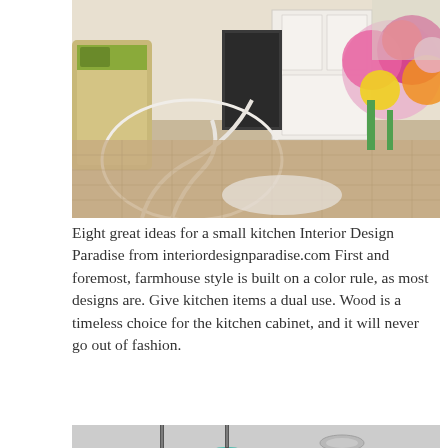[Figure (photo): Interior kitchen photo showing wicker furniture, white cabinets with a small refrigerator, beige tile floor, and colorful flower arrangement on the right side.]
Eight great ideas for a small kitchen Interior Design Paradise from interiordesignparadise.com First and foremost, farmhouse style is built on a color rule, as most designs are. Give kitchen items a dual use. Wood is a timeless choice for the kitchen cabinet, and it will never go out of fashion.
[Figure (photo): Kitchen interior photo showing teal/turquoise pendant lights hanging from the ceiling with white walls.]